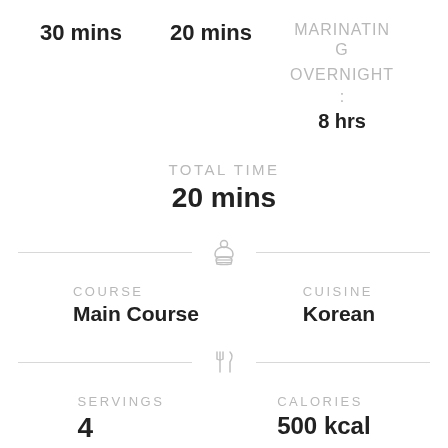30 mins
20 mins
MARINATING OVERNIGHT : 8 hrs
TOTAL TIME
20 mins
COURSE
Main Course
CUISINE
Korean
SERVINGS
4
CALORIES
500 kcal